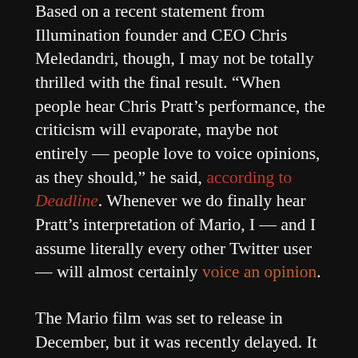Based on a recent statement from Illumination founder and CEO Chris Meledandri, though, I may not be totally thrilled with the final result. “When people hear Chris Pratt’s performance, the criticism will evaporate, maybe not entirely — people love to voice opinions, as they should,” he said, according to Deadline. Whenever we do finally hear Pratt’s interpretation of Mario, I — and I assume literally every other Twitter user — will almost certainly voice an opinion.
The Mario film was set to release in December, but it was recently delayed. It will now debut on April 7th in North America and April 28th in Japan. The cast also includes Anya Taylor-Joy as Princess Peach, Charlie Day as Luigi, and Jack Black as Bowser. While Martinet isn’t starring as Mario, he will be appearing in “surprise cameos.”